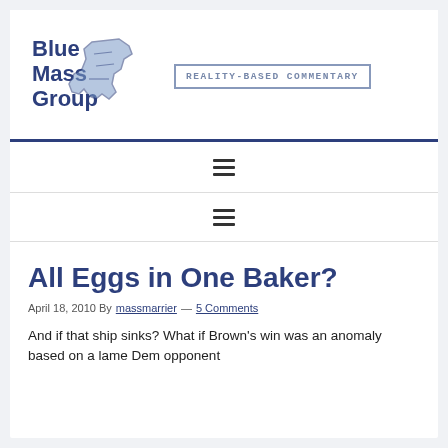[Figure (logo): Blue Mass Group logo — stylized text 'Blue Mass Group' in dark blue with a sketch of Massachusetts state map]
REALITY-BASED COMMENTARY
All Eggs in One Baker?
April 18, 2010 By massmarrier — 5 Comments
And if that ship sinks? What if Brown's win was an anomaly based on a lame Dem opponent